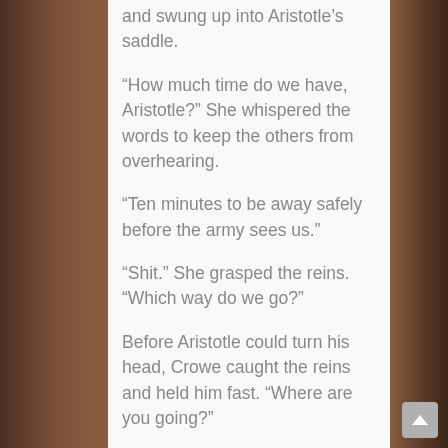and swung up into Aristotle's saddle.
“How much time do we have, Aristotle?” She whispered the words to keep the others from overhearing.
“Ten minutes to be away safely before the army sees us.”
“Shit.” She grasped the reins. “Which way do we go?”
Before Aristotle could turn his head, Crowe caught the reins and held him fast. “Where are you going?”